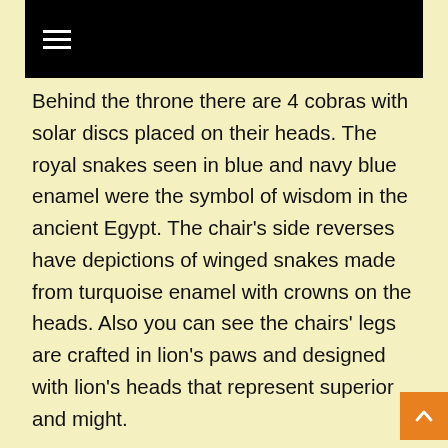≡
Behind the throne there are 4 cobras with solar discs placed on their heads. The royal snakes seen in blue and navy blue enamel were the symbol of wisdom in the ancient Egypt. The chair's side reverses have depictions of winged snakes made from turquoise enamel with crowns on the heads. Also you can see the chairs' legs are crafted in lion's paws and designed with lion's heads that represent superior and might.
As thousands of tourists go to Egypt every year to see not only mysterious pyramids but also have high chance to enter National Museum in Cairo. The Golden Throne of King Tutanhamun is